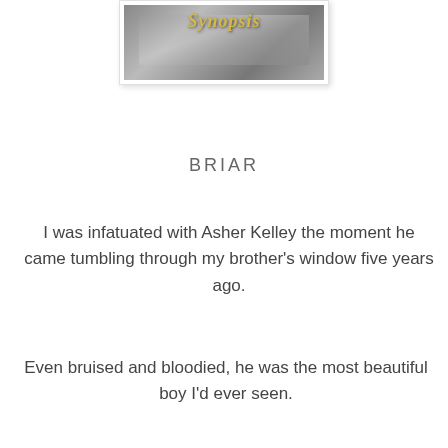[Figure (illustration): Book cover image shown partially at the top — a grayscale image with a golden/yellow cursive title text overlay, depicting what appears to be an open book]
BRIAR
I was infatuated with Asher Kelley the moment he came tumbling through my brother's window five years ago.
Even bruised and bloodied, he was the most beautiful boy I'd ever seen.